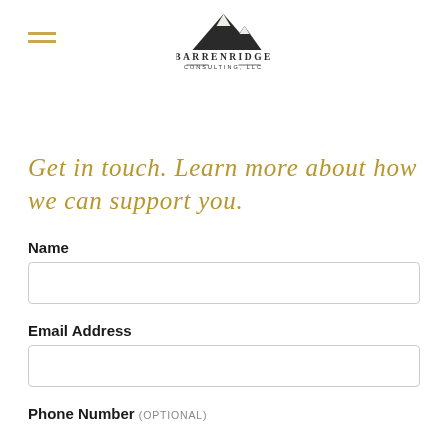Barrenridge Consulting, LLC
Get in touch. Learn more about how we can support you.
Name
Email Address
Phone Number (OPTIONAL)